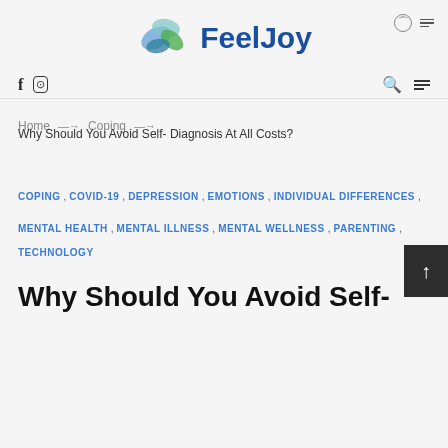[Figure (logo): FeelJoy logo with blue and green leaf/flower graphic and 'FeelJoy' text in blue]
Home → Coping → Why Should You Avoid Self- Diagnosis At All Costs?
COPING , COVID-19 , DEPRESSION , EMOTIONS , INDIVIDUAL DIFFERENCES , MENTAL HEALTH , MENTAL ILLNESS , MENTAL WELLNESS , PARENTING , TECHNOLOGY
Why Should You Avoid Self-